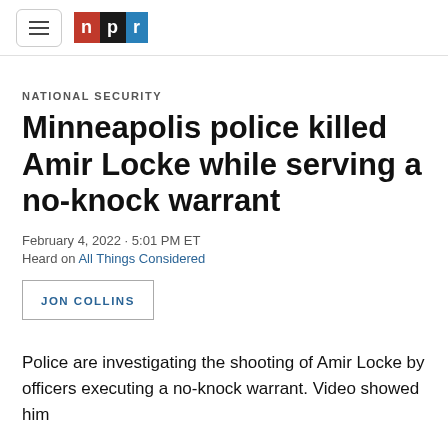NPR
NATIONAL SECURITY
Minneapolis police killed Amir Locke while serving a no-knock warrant
February 4, 2022 · 5:01 PM ET
Heard on All Things Considered
JON COLLINS
Police are investigating the shooting of Amir Locke by officers executing a no-knock warrant. Video showed him